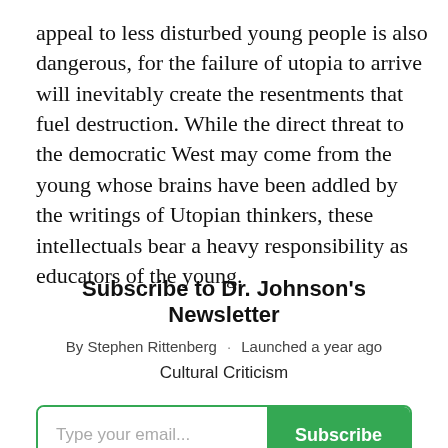appeal to less disturbed young people is also dangerous, for the failure of utopia to arrive will inevitably create the resentments that fuel destruction. While the direct threat to the democratic West may come from the young whose brains have been addled by the writings of Utopian thinkers, these intellectuals bear a heavy responsibility as educators of the young.
Subscribe to Dr. Johnson's Newsletter
By Stephen Rittenberg · Launched a year ago
Cultural Criticism